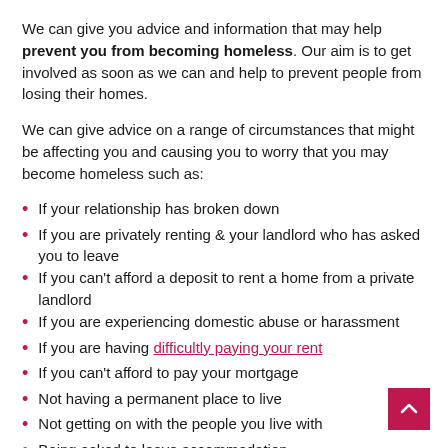We can give you advice and information that may help prevent you from becoming homeless. Our aim is to get involved as soon as we can and help to prevent people from losing their homes.
We can give advice on a range of circumstances that might be affecting you and causing you to worry that you may become homeless such as:
If your relationship has broken down
If you are privately renting & your landlord who has asked you to leave
If you can't afford a deposit to rent a home from a private landlord
If you are experiencing domestic abuse or harassment
If you are having difficultly paying your rent
If you can't afford to pay your mortgage
Not having a permanent place to live
Not getting on with the people you live with
Being asked to leave accommodation
Problems maintaining a tenancy
Advice on private renting including paying rent and the Rent Deposit Scheme